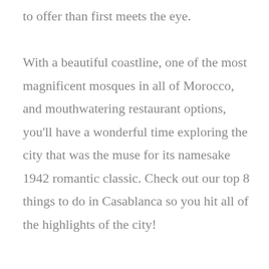to offer than first meets the eye.

With a beautiful coastline, one of the most magnificent mosques in all of Morocco, and mouthwatering restaurant options, you'll have a wonderful time exploring the city that was the muse for its namesake 1942 romantic classic. Check out our top 8 things to do in Casablanca so you hit all of the highlights of the city!